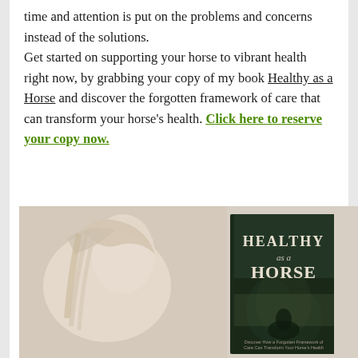time and attention is put on the problems and concerns instead of the solutions.

Get started on supporting your horse to vibrant health right now, by grabbing your copy of my book Healthy as a Horse and discover the forgotten framework of care that can transform your horse's health. Click here to reserve your copy now.
[Figure (photo): A horse image (pale/white horse in the background) alongside a book cover titled 'Healthy as a Horse' with subtitle about forgotten framework of care to transform your horse's health]